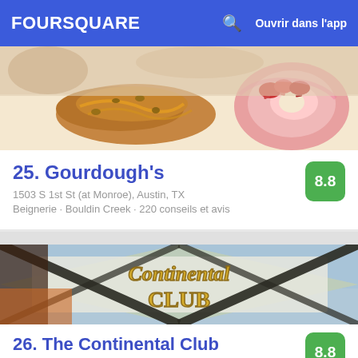FOURSQUARE  Ouvrir dans l'app
[Figure (photo): Close-up photo of donuts and pastries with caramel and toppings on a white background]
25. Gourdough's
1503 S 1st St (at Monroe), Austin, TX
Beignerie · Bouldin Creek · 220 conseils et avis
[Figure (photo): Photo of The Continental Club neon sign with gold lettering on a light green and white background]
26. The Continental Club